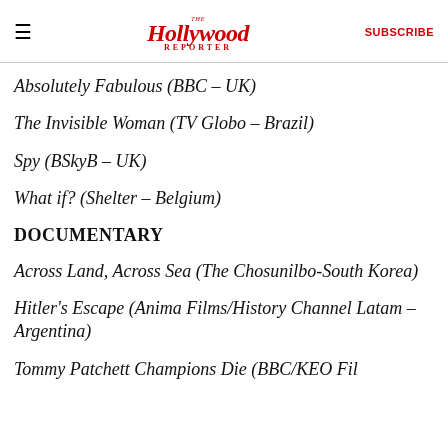The Hollywood Reporter | SUBSCRIBE
Absolutely Fabulous (BBC – UK)
The Invisible Woman (TV Globo – Brazil)
Spy (BSkyB – UK)
What if? (Shelter – Belgium)
DOCUMENTARY
Across Land, Across Sea (The Chosunilbo-South Korea)
Hitler's Escape (Anima Films/History Channel Latam – Argentina)
Tommy Patchett Champions Die (BBC/KEO Fil…